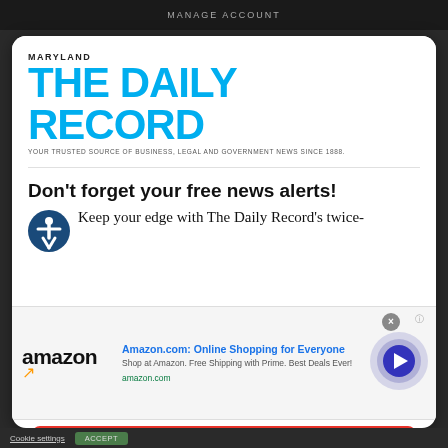MANAGE ACCOUNT
[Figure (logo): Maryland The Daily Record logo with tagline: YOUR TRUSTED SOURCE OF BUSINESS, LEGAL AND GOVERNMENT NEWS SINCE 1888.]
Don't forget your free news alerts!
Keep your edge with The Daily Record's twice-
[Figure (screenshot): Amazon.com advertisement banner with logo, title 'Amazon.com: Online Shopping for Everyone', description 'Shop at Amazon. Free Shipping with Prime. Best Deals Ever!', url 'amazon.com', and a circular arrow button]
SIGN UP FOR FREE
Cookie settings   ACCEPT